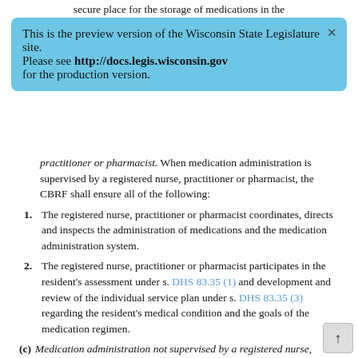secure place for the storage of medications in the
This is the preview version of the Wisconsin State Legislature site. Please see http://docs.legis.wisconsin.gov for the production version.
practitioner or pharmacist. When medication administration is supervised by a registered nurse, practitioner or pharmacist, the CBRF shall ensure all of the following:
1. The registered nurse, practitioner or pharmacist coordinates, directs and inspects the administration of medications and the medication administration system.
2. The registered nurse, practitioner or pharmacist participates in the resident's assessment under s. DHS 83.35 (1) and development and review of the individual service plan under s. DHS 83.35 (3) regarding the resident's medical condition and the goals of the medication regimen.
(c) Medication administration not supervised by a registered nurse, practitioner or pharmacist. When medication administration is not supervised by a registered nurse, practitioner or pharmacist, the CBRF shall arrange for a pharmacist to package and label a resident's prescription medications in unit dose. Medications available over-the-counter may be excluded from unit dose packaging